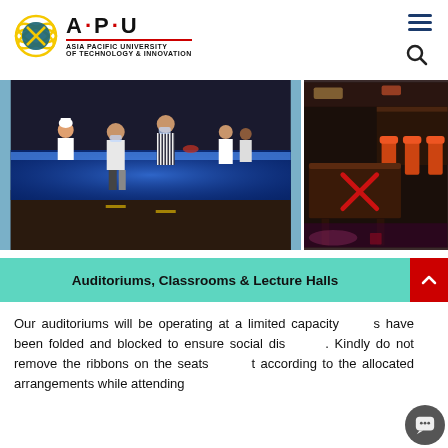[Figure (logo): Asia Pacific University of Technology & Innovation (APU) logo with globe icon and A·P·U wordmark]
[Figure (photo): Two photos side by side: left shows students and staff with masks at a food counter with blue LED lighting; right shows a table with a red X mark indicating blocked seating for social distancing]
Auditoriums, Classrooms & Lecture Halls
Our auditoriums will be operating at a limited capacity. Seats have been folded and blocked to ensure social distancing. Kindly do not remove the ribbons on the seats and be seated according to the allocated arrangements while attending